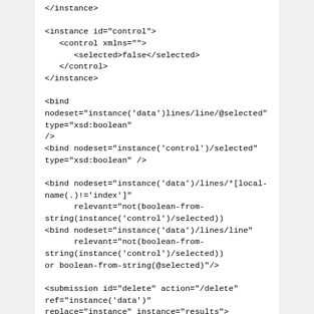</instance>

<instance id="control">
   <control xmlns="">
      <selected>false</selected>
   </control>
</instance>

<bind
nodeset="instance('data')lines/line/@selected"
type="xsd:boolean"
/>
<bind nodeset="instance('control')/selected"
type="xsd:boolean" />

<bind nodeset="instance('data')/lines/*[local-name(.)!='index']"
      relevant="not(boolean-from-string(instance('control')/selected))
<bind nodeset="instance('data')/lines/line"
      relevant="not(boolean-from-string(instance('control')/selected))
or boolean-from-string(@selected)"/>

<submission id="delete" action="/delete"
ref="instance('data')"
replace="instance" instance="results">
   <setvalue ev:event="xforms-submit"
ref="instance('control')/selected">true</setvalue>